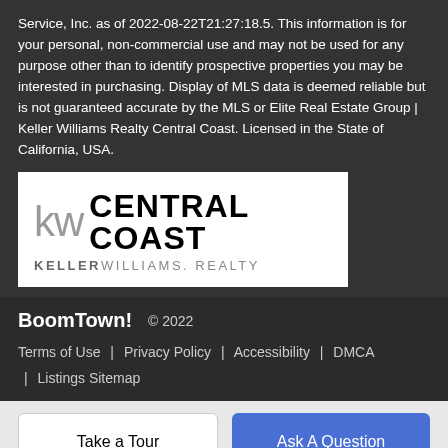Service, Inc. as of 2022-08-22T21:27:18.5. This information is for your personal, non-commercial use and may not be used for any purpose other than to identify prospective properties you may be interested in purchasing. Display of MLS data is deemed reliable but is not guaranteed accurate by the MLS or Elite Real Estate Group | Keller Williams Realty Central Coast. Licensed in the State of California, USA.
[Figure (logo): Keller Williams Realty Central Coast logo — 'kw CENTRAL COAST' with 'KELLERWILLIAMS. REALTY' below]
BoomTown! © 2022
Terms of Use | Privacy Policy | Accessibility | DMCA | Listings Sitemap
Take a Tour
Ask A Question